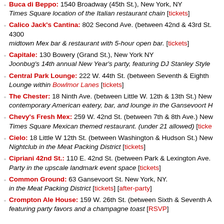Buca di Beppo: 1540 Broadway (45th St.), New York, NY
Times Square location of the Italian restaurant chain [tickets]
Calico Jack's Cantina: 802 Second Ave. (between 42nd & 43rd St.) 4300
midtown Mex bar & restaurant with 5-hour open bar. [tickets]
Capitale: 130 Bowery (Grand St.), New York NY
Joonbug's 14th annual New Year's party, featuring DJ Stanley Style
Central Park Lounge: 222 W. 44th St. (between Seventh & Eighth)
Lounge within Bowlmor Lanes [tickets]
The Chester: 18 Ninth Ave. (between Little W. 12th & 13th St.) New
contemporary American eatery, bar, and lounge in the Gansevoort H
Chevy's Fresh Mex: 259 W. 42nd St. (between 7th & 8th Ave.) New
Times Square Mexican themed restaurant. (under 21 allowed) [tickets]
Cielo: 18 Little W 12th St. (between Washington & Hudson St.) New
Nightclub in the Meat Packing District [tickets]
Cipriani 42nd St.: 110 E. 42nd St. (between Park & Lexington Ave.)
Party in the upscale landmark event space [tickets]
Common Ground: 63 Gansevoort St. New York, NY.
in the Meat Packing District [tickets] [after-party]
Crompton Ale House: 159 W. 26th St. (between Sixth & Seventh A
featuring party favors and a champagne toast [RSVP]